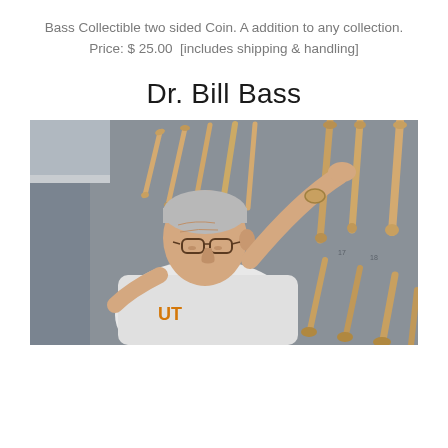Bass Collectible two sided Coin. A addition to any collection.
Price: $ 25.00  [includes shipping & handling]
Dr. Bill Bass
[Figure (photo): Photograph of Dr. Bill Bass, an older man with gray hair and glasses wearing a white t-shirt with an orange logo, arranging or examining bones mounted on a gray wall in what appears to be a laboratory or museum setting. Various long bones are displayed on the wall behind him.]